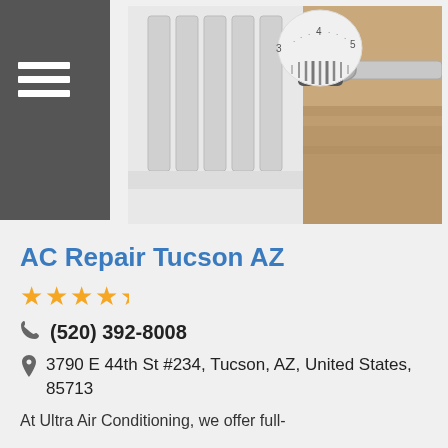[Figure (photo): Close-up photograph of a white radiator with a thermostatic valve/dial showing numbers 3, 4, 5, on a warm wooden background]
AC Repair Tucson AZ
★★★★★ (4.5 stars rating)
(520) 392-8008
3790 E 44th St #234, Tucson, AZ, United States, 85713
At Ultra Air Conditioning, we offer full-